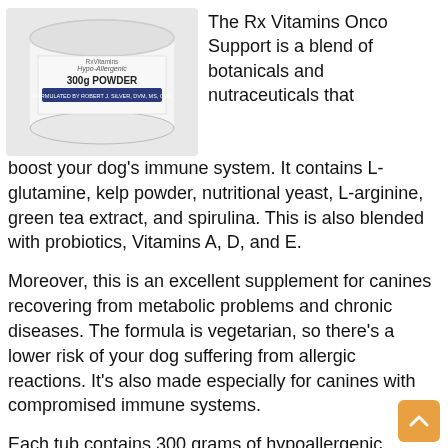[Figure (photo): A white tub of Rx Vitamins Onco Support 300g Powder, labeled Hypo-Allergenic, Formulated by Robert J. Silver, DVM, MS, CVA]
The Rx Vitamins Onco Support is a blend of botanicals and nutraceuticals that boost your dog’s immune system. It contains L-glutamine, kelp powder, nutritional yeast, L-arginine, green tea extract, and spirulina. This is also blended with probiotics, Vitamins A, D, and E.
Moreover, this is an excellent supplement for canines recovering from metabolic problems and chronic diseases. The formula is vegetarian, so there’s a lower risk of your dog suffering from allergic reactions. It’s also made especially for canines with compromised immune systems.
Each tub contains 300 grams of hypoallergenic, potent, and innovative immune adjuvant. It’s also formulated by Robert J. Silver, a practicing veterinarian for more than 30 years. This speaks volumes about the safety and